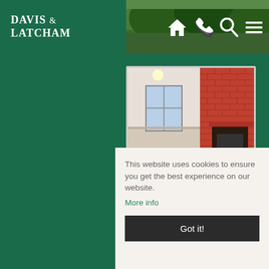DAVIS & LATCHAM
[Figure (photo): Garden/exterior green foliage photo in top nav area]
[Figure (photo): Interior room with brick fireplace wall and bare floors]
[Figure (photo): Close-up of brick wall interior]
[Figure (photo): Another interior room photo partially visible at bottom]
This website uses cookies to ensure you get the best experience on our website. More info
Got it!